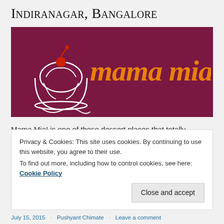Indiranagar, Bangalore
[Figure (logo): Mama Mia! restaurant logo on dark maroon background. White line art of an ice cream sundae bowl and orange cursive text reading 'mama mia!']
Mama Mia! is one of those dessert places that totally surprised me with what it could offer. I went there with
Privacy & Cookies: This site uses cookies. By continuing to use this website, you agree to their use.
To find out more, including how to control cookies, see here: Cookie Policy
[Close and accept]
July 15, 2015 · Pushyant Chimate · Leave a comment